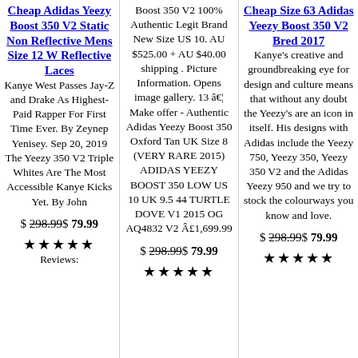Cheap Adidas Yeezy Boost 350 V2 Static Non Reflective Mens Size 12 W Reflective Laces
Kanye West Passes Jay-Z and Drake As Highest-Paid Rapper For First Time Ever. By Zeynep Yenisey. Sep 20, 2019 The Yeezy 350 V2 Triple Whites Are The Most Accessible Kanye Kicks Yet. By John
$ 298.99$ 79.99
★★★★★ Reviews:
Boost 350 V2 100% Authentic Legit Brand New Size US 10. AU $525.00 + AU $40.00 shipping . Picture Information. Opens image gallery. 13 … Make offer - Authentic Adidas Yeezy Boost 350 Oxford Tan UK Size 8 (VERY RARE 2015) ADIDAS YEEZY BOOST 350 LOW US 10 UK 9.5 44 TURTLE DOVE V1 2015 OG AQ4832 V2 £1,699.99
$ 298.99$ 79.99
★★★★★
Cheap Size 63 Adidas Yeezy Boost 350 V2 Bred 2017
Kanye's creative and groundbreaking eye for design and culture means that without any doubt the Yeezy's are an icon in itself. His designs with Adidas include the Yeezy 750, Yeezy 350, Yeezy 350 V2 and the Adidas Yeezy 950 and we try to stock the colourways you know and love.
$ 298.99$ 79.99
★★★★★